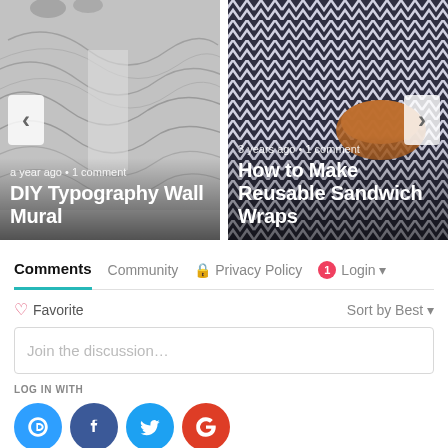[Figure (screenshot): Left card: DIY Typography Wall Mural - topographic wall mural image with nav arrow, meta text 'a year ago • 1 comment' and bold title]
[Figure (screenshot): Right card: How to Make Reusable Sandwich Wraps - chevron fabric with bread image, meta text '3 years ago • 1 comment' and bold title]
Comments | Community | Privacy Policy | 1 | Login
Favorite | Sort by Best
Join the discussion...
LOG IN WITH